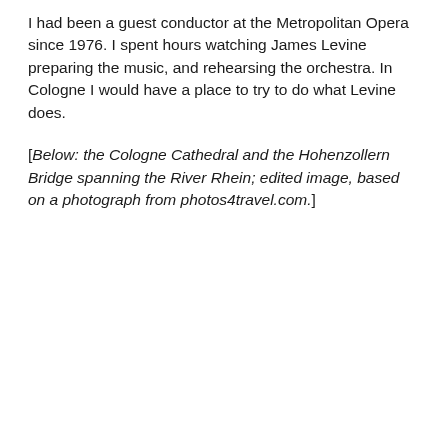I had been a guest conductor at the Metropolitan Opera since 1976. I spent hours watching James Levine preparing the music, and rehearsing the orchestra. In Cologne I would have a place to try to do what Levine does.
[Below: the Cologne Cathedral and the Hohenzollern Bridge spanning the River Rhein; edited image, based on a photograph from photos4travel.com.]